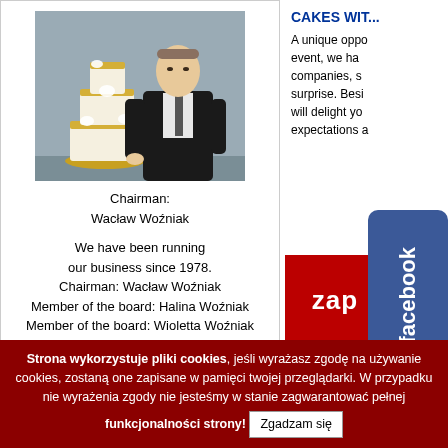[Figure (photo): Man in dark suit standing next to a tall ornate multi-tiered wedding cake with floral decorations]
Chairman:
Wacław Woźniak
We have been running our business since 1978. Chairman: Wacław Woźniak Member of the board: Halina Woźniak Member of the board: Wioletta Woźniak
CAKES WIT...
A unique opportunity event, we ha... companies, s... surprise. Besi... will delight yo... expectations a...
[Figure (logo): Facebook badge/logo in blue]
[Figure (other): Red banner with text 'zap']
Strona wykorzystuje pliki cookies, jeśli wyrażasz zgodę na używanie cookies, zostaną one zapisane w pamięci twojej przeglądarki. W przypadku nie wyrażenia zgody nie jesteśmy w stanie zagwarantować pełnej funkcjonalności strony!